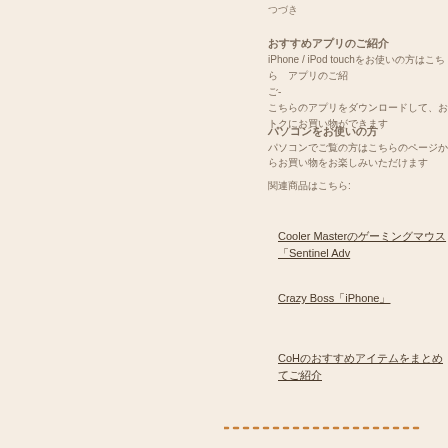つづき
おすすめアプリのご紹介
iPhone / iPod touchをお使いの方はこちら　アプリのご紹
ご-
こちらのアプリをダウンロードして、おトクにお買い物ができます
パソコンをお使いの方
パソコンでご覧の方はこちらのページからお買い物をお楽しみいただけます
関連商品はこちら:
Cooler Masterのゲーミングマウス「Sentinel Adv」
Crazy Boss「iPhone」
CoHのおすすめアイテムをまとめてご紹介